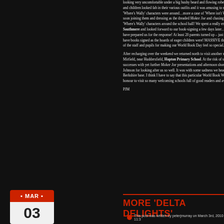looking very uncomfortable under a big bushy beard and flowing robes and children looked fab in their various outfits and it was amusing to see 'Where's Wally' characters were around…more a case of 'Where isn't W soon joining them and dressing as the dreaded Mokee Joe and chasing our 'Where's Wally' characters around the school hall! We spent a really enj Southmere and looked forward to our book-signing a few days later…. have prepared us for the response! At least 20 parents turned up – just as have books signed as the hoards of eager children were! MASSIVE tha of the staff and pupils for making our World Book Day feel so special.
After recharging over the weekend we returned north to visit another sch Mirfield, near Huddersfield, Hopton Primary School. At the risk of so successes with yet further Mokee Joe presentations and afternoon short- Johnson for looking after us so well. It was with some sadness we heade Berkshire base. I think I have to say that this particular World Book We honour to visit so many welcoming schools full of good readers and avi
PJM
MORE 'DELTA DELIGHTS'
This post was written by peterjmurray on March 3rd, 2010 11:3